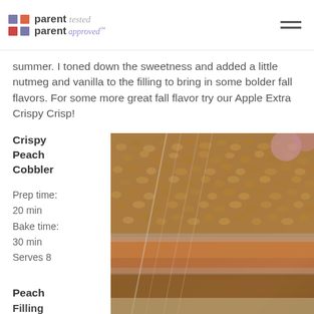parent tested parent approved
summer. I toned down the sweetness and added a little nutmeg and vanilla to the filling to bring in some bolder fall flavors. For some more great fall flavor try our Apple Extra Crispy Crisp!
Crispy Peach Cobbler
Prep time: 20 min
Bake time: 30 min
Serves 8
[Figure (photo): Close-up photo of a crispy peach cobbler in a glass baking dish, showing golden-brown oat crumble topping over peach filling.]
Peach Filling